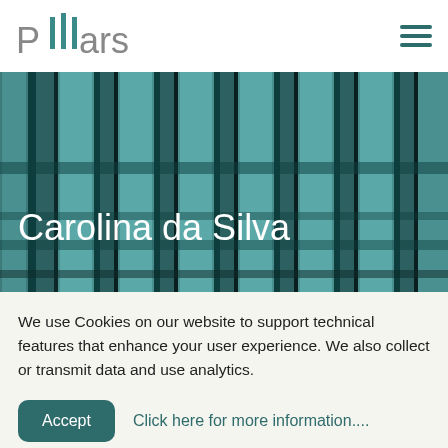Pillars
[Figure (illustration): Hero banner with teal and dark geometric vertical stripes pattern background with the text 'Carolina da Silva' overlaid in white]
Carolina da Silva
We use Cookies on our website to support technical features that enhance your user experience. We also collect or transmit data and use analytics.
Accept   Click here for more information....